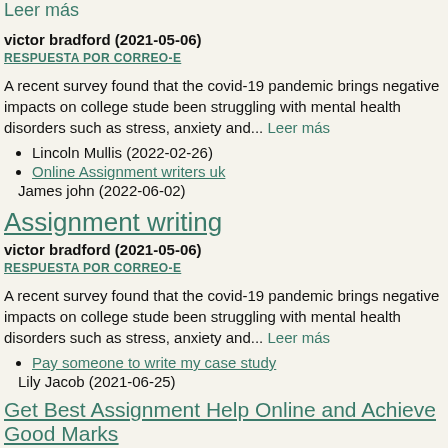Leer más
victor bradford (2021-05-06)
RESPUESTA POR CORREO-E
A recent survey found that the covid-19 pandemic brings negative impacts on college stude been struggling with mental health disorders such as stress, anxiety and... Leer más
Lincoln Mullis (2022-02-26)
Online Assignment writers uk
James john (2022-06-02)
Assignment writing
victor bradford (2021-05-06)
RESPUESTA POR CORREO-E
A recent survey found that the covid-19 pandemic brings negative impacts on college stude been struggling with mental health disorders such as stress, anxiety and... Leer más
Pay someone to write my case study
Lily Jacob (2021-06-25)
Get Best Assignment Help Online and Achieve Good Marks
Alisah Wilson (2021-05-13)
RESPUESTA POR CORREO-E